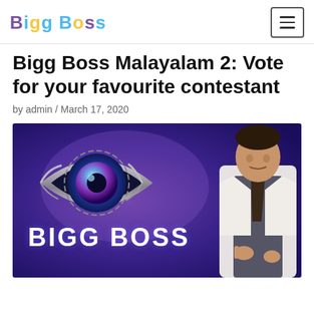Bigg Boss
Bigg Boss Malayalam 2: Vote for your favourite contestant
by admin / March 17, 2020
[Figure (photo): Bigg Boss Malayalam promotional image featuring the metallic eye logo with 'BIGG BOSS' text on a purple/blue background, with a man in a white blazer on the right side]